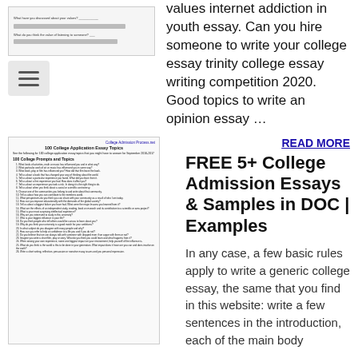[Figure (screenshot): Small document image with two lines visible at top left]
values internet addiction in youth essay. Can you hire someone to write your college essay trinity college essay writing competition 2020. Good topics to write an opinion essay …
[Figure (screenshot): Thumbnail of a document titled '100 College Application Essay Topics' with a numbered list of college prompts and topics]
READ MORE
FREE 5+ College Admission Essays & Samples in DOC | Examples
In any case, a few basic rules apply to write a generic college essay, the same that you find in this website: write a few sentences in the introduction, each of the main body
paragraphs and the …